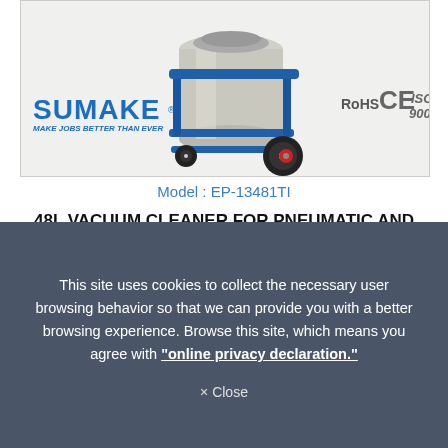[Figure (photo): Sumake EP-13481TI 48L vacuum cleaner on blue wheeled cart, with RoHS, CE, ISO 9001 certifications and Sumake logo/tagline]
Model : EP-13481TI
48L VACUUM CLEANER FOR PNEUMATIC AND ELECTRIC TOOLS
Add To Inquiry
This site uses cookies to collect the necessary user browsing behavior so that we can provide you with a better browsing experience. Browse this site, which means you agree with "online privacy declaration."
× Close